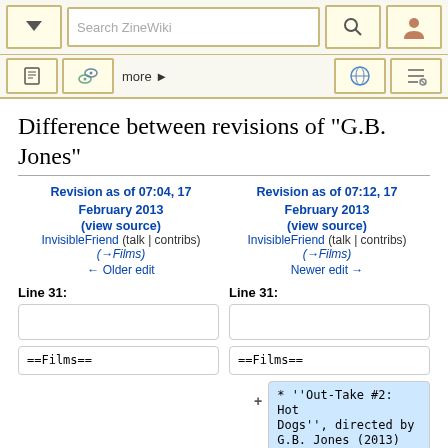Search ZineWiki
Difference between revisions of "G.B. Jones"
Revision as of 07:04, 17 February 2013 (view source)
InvisibleFriend (talk | contribs)
(→Films)
← Older edit
Revision as of 07:12, 17 February 2013 (view source)
InvisibleFriend (talk | contribs)
(→Films)
Newer edit →
Line 31:
Line 31:
==Films==
==Films==
* ''Out-Take #2: Hot Dogs'', directed by G.B. Jones (2013)